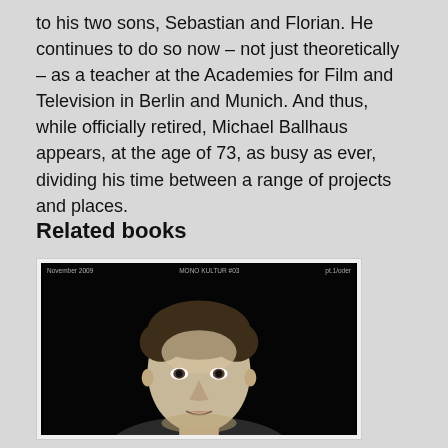to his two sons, Sebastian and Florian. He continues to do so now – not just theoretically – as a teacher at the Academies for Film and Television in Berlin and Munich. And thus, while officially retired, Michael Ballhaus appears, at the age of 73, as busy as ever, dividing his time between a range of projects and places.
Related books
[Figure (photo): Book cover thumbnail showing a young man's face against a dark/black background. Small header text reads: 'November 2009', 'MONO KULTUR #03', and 'pt.1/oder'. The image appears to be a magazine or book cover in black and white style.]